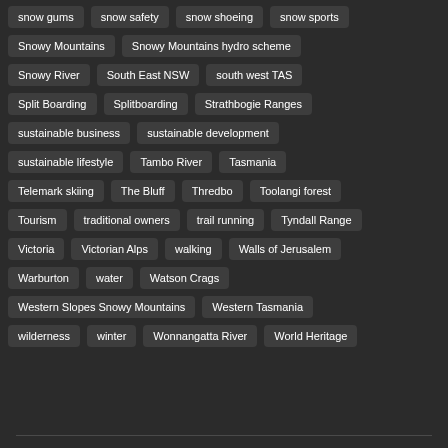snow gums
snow safety
snow shoeing
snow sports
Snowy Mountains
Snowy Mountains hydro scheme
Snowy River
South East NSW
south west TAS
Split Boarding
Splitboarding
Strathbogie Ranges
sustainable business
sustainable development
sustainable lifestyle
Tambo River
Tasmania
Telemark skiing
The Bluff
Thredbo
Toolangi forest
Tourism
traditional owners
trail running
Tyndall Range
Victoria
Victorian Alps
walking
Walls of Jerusalem
Warburton
water
Watson Crags
Western Slopes Snowy Mountains
Western Tasmania
wilderness
winter
Wonnangatta River
World Heritage